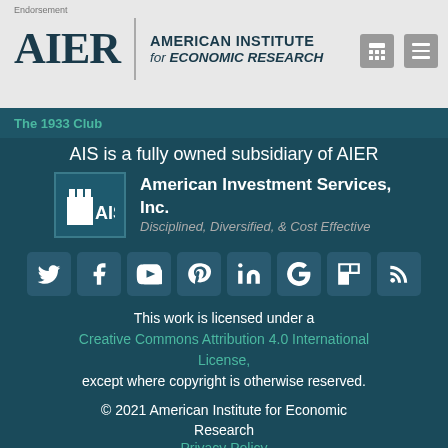Endorsement
AIER | AMERICAN INSTITUTE for ECONOMIC RESEARCH
The 1933 Club
AIS is a fully owned subsidiary of AIER
[Figure (logo): AIS logo with castle icon and text American Investment Services, Inc. Disciplined, Diversified, & Cost Effective]
[Figure (infographic): Row of 8 social media icons: Twitter, Facebook, YouTube, Pinterest, LinkedIn, Google, Flipboard, RSS]
This work is licensed under a Creative Commons Attribution 4.0 International License, except where copyright is otherwise reserved.
© 2021 American Institute for Economic Research
Privacy Policy